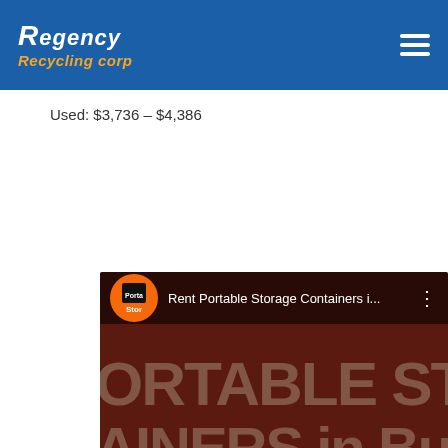Regency Recycling corp
Used: $3,736 – $4,386
[Figure (screenshot): YouTube video thumbnail for 'Rent Portable Storage Containers i...' by PortaStor, showing dark red background with large text 'PORTABLE STORAGE CONTAINERS in Bur' and a phone number '00-833-77', with a YouTube play button overlay.]